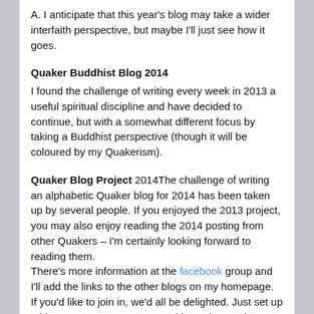A. I anticipate that this year's blog may take a wider interfaith perspective, but maybe I'll just see how it goes.
Quaker Buddhist Blog 2014
I found the challenge of writing every week in 2013 a useful spiritual discipline and have decided to continue, but with a somewhat different focus by taking a Buddhist perspective (though it will be coloured by my Quakerism).
Quaker Blog Project 2014The challenge of writing an alphabetic Quaker blog for 2014 has been taken up by several people. If you enjoyed the 2013 project, you may also enjoy reading the 2014 posting from other Quakers – I'm certainly looking forward to reading them.
There's more information at the facebook group and I'll add the links to the other blogs on my homepage.
If you'd like to join in, we'd all be delighted. Just set up a blog, set your own target, and let us know where to read it.
Quaker Blog Project 2013